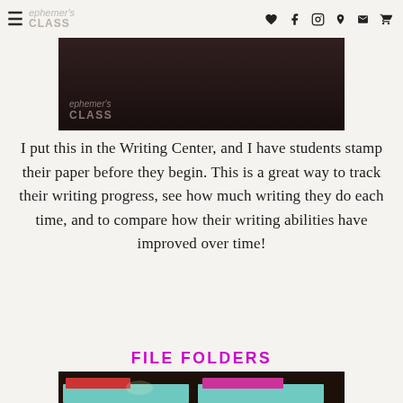≡  ephemer's CLASS  ♥ f ○ ℗ ✉ 🛒
[Figure (photo): Top portion of a photo showing a dark background with the blog logo 'ephemer's CLASS' in lighter text]
I put this in the Writing Center, and I have students stamp their paper before they begin. This is a great way to track their writing progress, see how much writing they do each time, and to compare how their writing abilities have improved over time!
FILE FOLDERS
[Figure (photo): Photo of teal/turquoise colored file folders with red and pink tab labels, placed against a dark background. The folders are in a stacked arrangement showing their tab organization.]